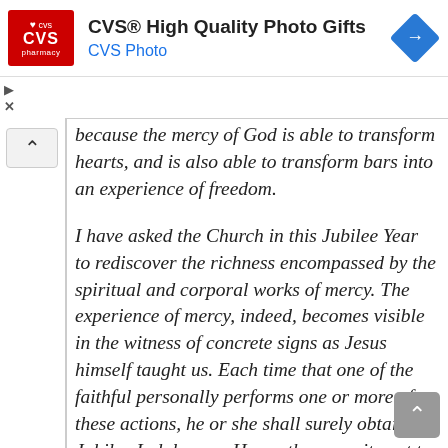[Figure (logo): CVS Pharmacy advertisement banner with red CVS logo, heading 'CVS® High Quality Photo Gifts', subheading 'CVS Photo' in blue, and a blue diamond navigation arrow icon on the right]
because the mercy of God is able to transform hearts, and is also able to transform bars into an experience of freedom.
I have asked the Church in this Jubilee Year to rediscover the richness encompassed by the spiritual and corporal works of mercy. The experience of mercy, indeed, becomes visible in the witness of concrete signs as Jesus himself taught us. Each time that one of the faithful personally performs one or more of these actions, he or she shall surely obtain the Jubilee Indulgence. Hence the commitment to live by mercy so as to obtain the grace of complete